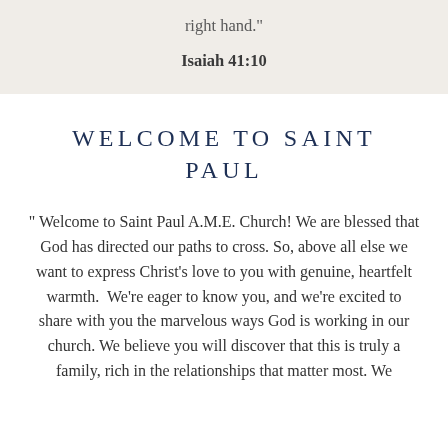right hand."
Isaiah 41:10
WELCOME TO SAINT PAUL
" Welcome to Saint Paul A.M.E. Church! We are blessed that God has directed our paths to cross. So, above all else we want to express Christ's love to you with genuine, heartfelt warmth.  We're eager to know you, and we're excited to share with you the marvelous ways God is working in our church. We believe you will discover that this is truly a family, rich in the relationships that matter most. We